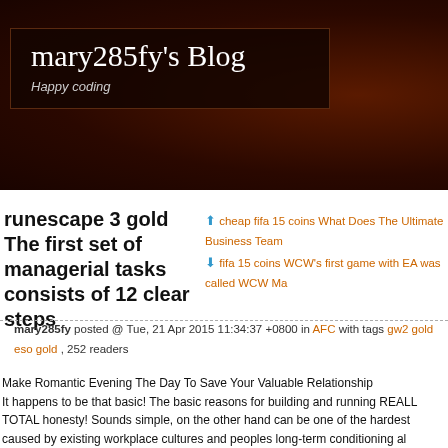mary285fy's Blog
Happy coding
↑ cheap fifa 15 coins What Does The Ultimate Business Team
↓ fifa 15 coins WCW's first game with EA was called WCW Ma
runescape 3 gold The first set of managerial tasks consists of 12 clear steps
mary285fy posted @ Tue, 21 Apr 2015 11:34:37 +0800 in AFC with tags gw2 gold eso gold , 252 readers
Make Romantic Evening The Day To Save Your Valuable Relationship
It happens to be that basic! The basic reasons for building and running REALL
TOTAL honesty! Sounds simple, on the other hand can be one of the hardest
caused by existing workplace cultures and peoples long-term conditioning al
gold If the not to be able to implement this culture change, you will undoubtedl